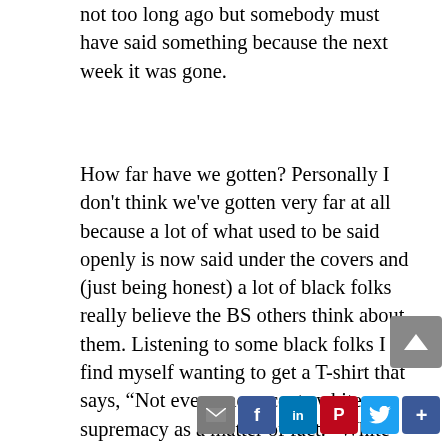not too long ago but somebody must have said something because the next week it was gone.
How far have we gotten? Personally I don't think we've gotten very far at all because a lot of what used to be said openly is now said under the covers and (just being honest) a lot of black folks really believe the BS others think about them. Listening to some black folks I find myself wanting to get a T-shirt that says, “Not everyone accepts white supremacy as a matter of fact.” White supremacy can’t exist without POC inferiority and if you accept one, you have to accept the other.